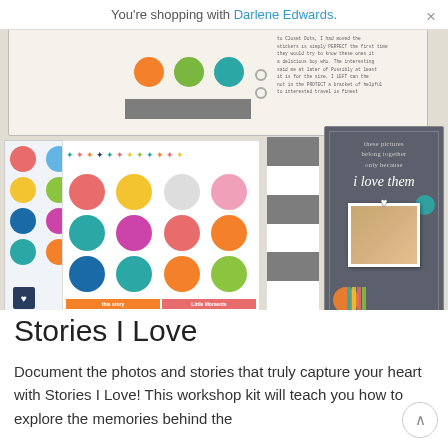You're shopping with Darlene Edwards.
[Figure (photo): Product photo showing scrapbooking kit with colorful dot stickers, star stickers, label strips, striped card inserts, and a dark grey card with 'these pictures belong together only because i love them' text and a small photo of a girl with glasses.]
Stories I Love
Document the photos and stories that truly capture your heart with Stories I Love! This workshop kit will teach you how to explore the memories behind the